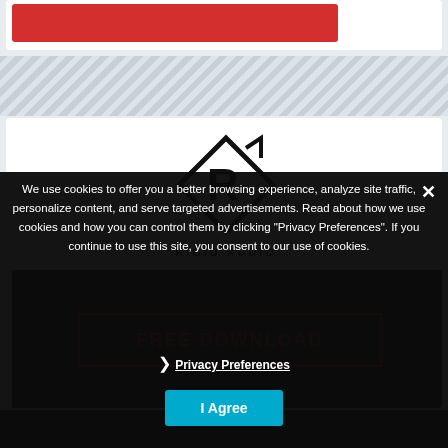[Figure (logo): Rigid Audio logo: diamond shape with stylized R inside, text RIGID AUDIO below]
We use cookies to offer you a better browsing experience, analyze site traffic, personalize content, and serve targeted advertisements. Read about how we use cookies and how you can control them by clicking "Privacy Preferences". If you continue to use this site, you consent to our use of cookies.
❯ Privacy Preferences
I Agree